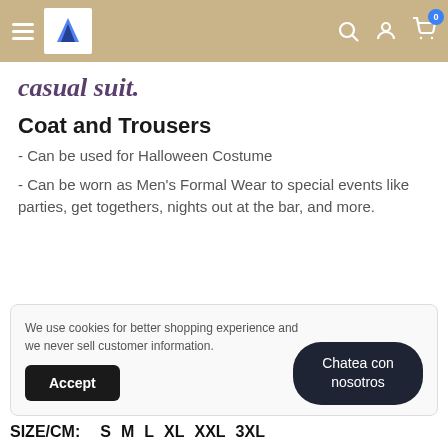casual suit.
Coat and Trousers
- Can be used for Halloween Costume
- Can be worn as Men's Formal Wear to special events like parties, get togethers, nights out at the bar, and more.
We use cookies for better shopping experience and we never sell customer information.
Accept
Chatea con nosotros
SIZE/CM:  S  M  L  XL  XXL  3XL